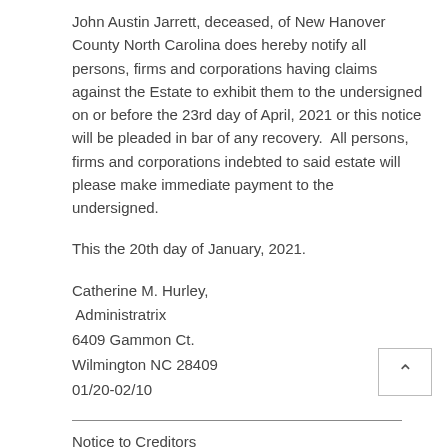John Austin Jarrett, deceased, of New Hanover County North Carolina does hereby notify all persons, firms and corporations having claims against the Estate to exhibit them to the undersigned on or before the 23rd day of April, 2021 or this notice will be pleaded in bar of any recovery.  All persons, firms and corporations indebted to said estate will please make immediate payment to the undersigned.
This the 20th day of January, 2021.
Catherine M. Hurley,
 Administratrix
6409 Gammon Ct.
Wilmington NC 28409
01/20-02/10
Notice to Creditors
STATE OF NORTH